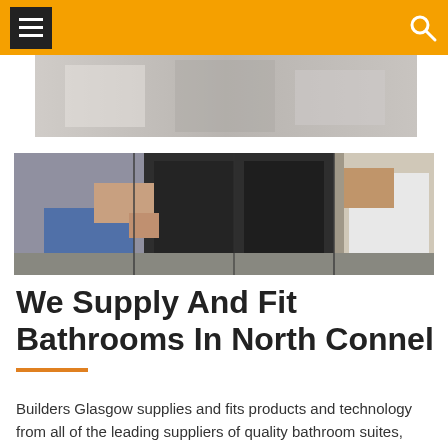Navigation bar with menu and search
[Figure (photo): Partial view of a bathroom or cabinet installation scene — grey/light background]
[Figure (photo): Two workers installing dark bathroom cabinetry — one in jeans holding the unit, another in white shirt assisting]
We Supply And Fit Bathrooms In North Connel
Builders Glasgow supplies and fits products and technology from all of the leading suppliers of quality bathroom suites, fittings, fixtures and tiles